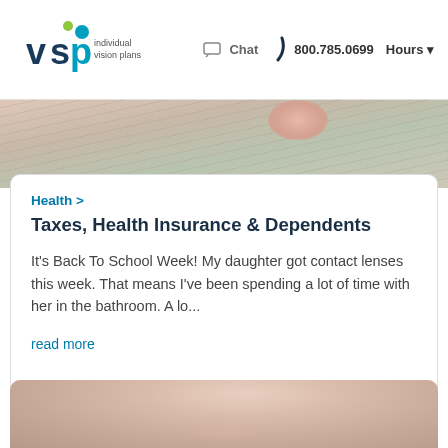VSP Individual Vision Plans | Chat | 800.785.0699 | Hours
[Figure (photo): Top partial image showing papers/documents with a hand, cropped at top of page]
Health >
Taxes, Health Insurance & Dependents
It's Back To School Week! My daughter got contact lenses this week. That means I've been spending a lot of time with her in the bathroom. A lo...
read more
[Figure (photo): Bottom partial image showing a smiling woman, cropped at bottom of page]